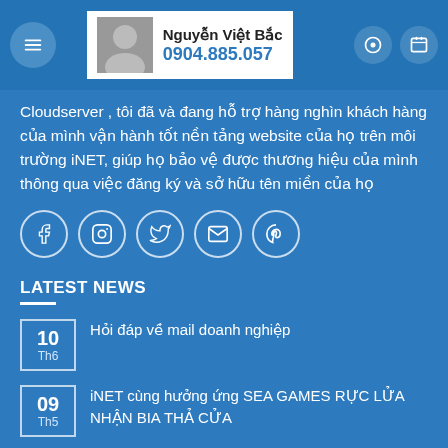Nguyễn Việt Bắc 0904.885.057
Cloudserver , tôi đã và đang hỗ trợ hàng nghìn khách hàng của mình vận hành tốt nền tảng website của họ trên môi trường iNET, giúp họ bảo vệ được thương hiệu của mình thông qua việc đăng ký và sở hữu tên miền của họ
[Figure (other): Row of social media icons: Facebook, Instagram, Twitter, Email, Pinterest]
LATEST NEWS
10 Th6 — Hỏi đáp về mail doanh nghiệp
09 Th5 — iNET cùng hưởng ứng SEA GAMES RỰC LỬA NHẬN BIA THẢ CỬA
29 Th4 — Hướng dẫn tối ưu website bằng rocket